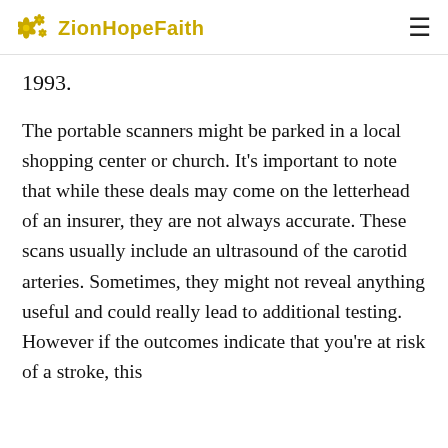ZionHopeFaith
1993.
The portable scanners might be parked in a local shopping center or church. It's important to note that while these deals may come on the letterhead of an insurer, they are not always accurate. These scans usually include an ultrasound of the carotid arteries. Sometimes, they might not reveal anything useful and could really lead to additional testing. However if the outcomes indicate that you're at risk of a stroke, this